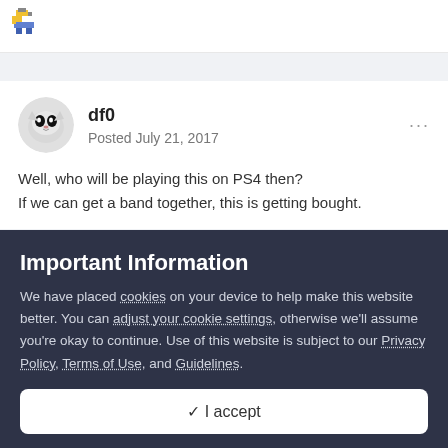[Figure (logo): Pixel art logo icon in top left corner]
df0
Posted July 21, 2017
Well, who will be playing this on PS4 then?
If we can get a band together, this is getting bought.
Important Information
We have placed cookies on your device to help make this website better. You can adjust your cookie settings, otherwise we'll assume you're okay to continue. Use of this website is subject to our Privacy Policy, Terms of Use, and Guidelines.
✓  I accept